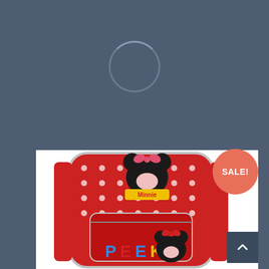[Figure (other): Loading spinner circle outline in grey-blue tones]
€10.00
READ MORE
[Figure (photo): Red polka-dot Minnie Mouse backpack with Minnie Mouse character graphic and PEEK text on front pocket]
SALE!
^